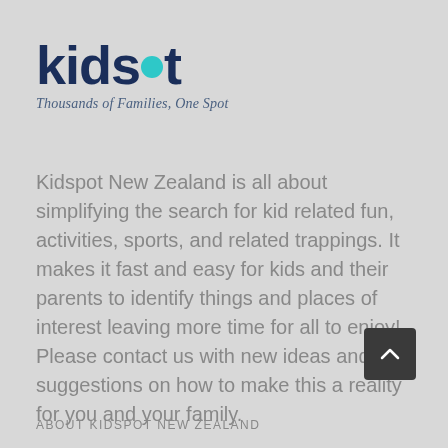[Figure (logo): Kidspot logo with teal dot replacing the 'o' in spot, and tagline 'Thousands of Families, One Spot' in italic below]
Kidspot New Zealand is all about simplifying the search for kid related fun, activities, sports, and related trappings. It makes it fast and easy for kids and their parents to identify things and places of interest leaving more time for all to enjoy! Please contact us with new ideas and suggestions on how to make this a reality for you and your family.
ABOUT KIDSPOT NEW ZEALAND